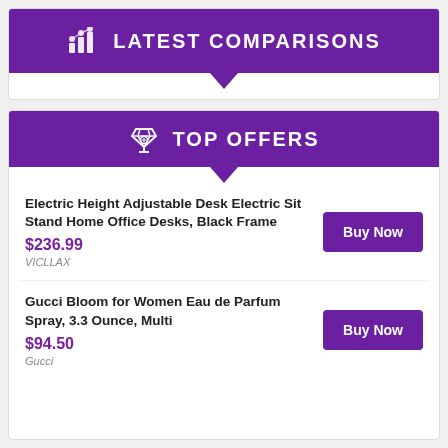LATEST COMPARISONS
TOP OFFERS
Electric Height Adjustable Desk Electric Sit Stand Home Office Desks, Black Frame
$236.99
VICLLAX
Gucci Bloom for Women Eau de Parfum Spray, 3.3 Ounce, Multi
$94.50
Gucci